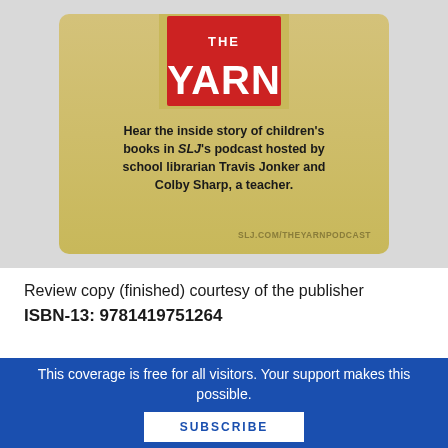[Figure (illustration): The Yarn podcast advertisement card with gold/tan background showing 'THE YARN' logo in red block letters, text about SLJ's podcast hosted by Travis Jonker and Colby Sharp, and URL SLJ.COM/THEYARNPODCAST]
Hear the inside story of children's books in SLJ's podcast hosted by school librarian Travis Jonker and Colby Sharp, a teacher.
SLJ.COM/THEYARNPODCAST
Review copy (finished) courtesy of the publisher
ISBN-13: 9781419751264
This coverage is free for all visitors. Your support makes this possible.
SUBSCRIBE